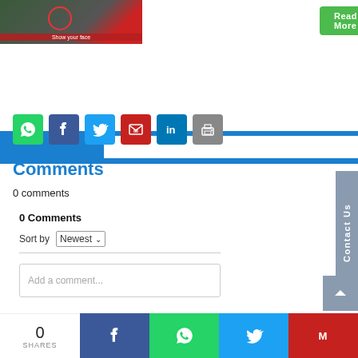[Figure (screenshot): Thumbnail image with red circle overlay and 'Show your face' red label at bottom]
Read More
[Figure (screenshot): Blue navigation/search bar with white input area]
[Figure (infographic): Row of social share icons: WhatsApp (green), Facebook (blue), Twitter (light blue), Gmail (red), LinkedIn (blue), Print (grey)]
Comments
0 comments
0 Comments
Sort by Newest
Add a comment...
0 SHARES
[Figure (infographic): Bottom share bar with Facebook, WhatsApp, Twitter, Gmail icons]